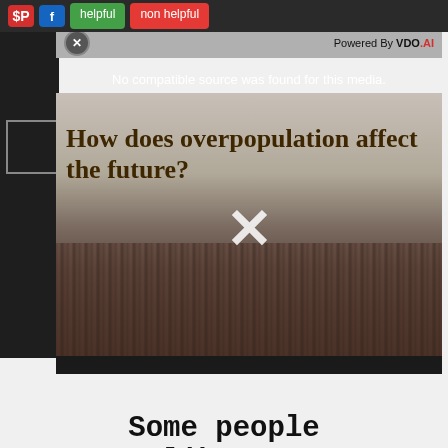[Figure (screenshot): Top toolbar with Pinterest, Facebook, helpful (green), non helpful (red) buttons on dark background]
[Figure (screenshot): Video player popup with error message 'No compatible source was found for this media.' overlaid on thumbnail showing crowd image with text 'How does overpopulation affect the future?' and a large X close button. Powered By VDO.AI label in top bar.]
[Figure (screenshot): Bottom toolbar with Pinterest, Facebook, helpful (green), non helpful (red) buttons on light background]
Some people are like trees,